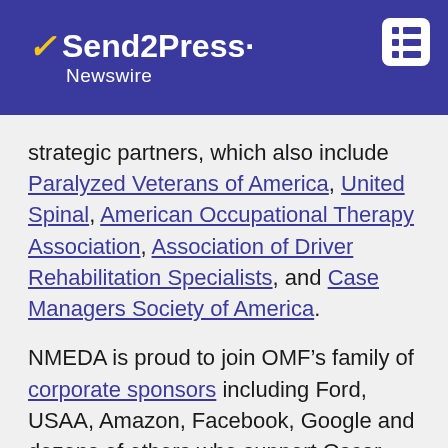[Figure (logo): Send2Press Newswire logo in white text on dark blue/purple header background with lightning bolt icon, and a menu icon (grid) in the top right corner]
strategic partners, which also include Paralyzed Veterans of America, United Spinal, American Occupational Therapy Association, Association of Driver Rehabilitation Specialists, and Case Managers Society of America.
NMEDA is proud to join OMF's family of corporate sponsors including Ford, USAA, Amazon, Facebook, Google and dozens of others who support Oscar Mike's mission of keeping veterans on the move.